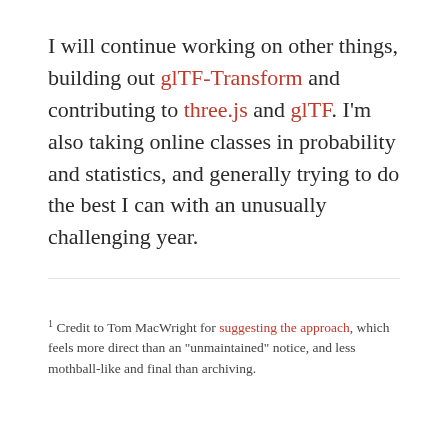I will continue working on other things, building out glTF-Transform and contributing to three.js and glTF. I'm also taking online classes in probability and statistics, and generally trying to do the best I can with an unusually challenging year.
1 Credit to Tom MacWright for suggesting the approach, which feels more direct than an "unmaintained" notice, and less mothball-like and final than archiving.